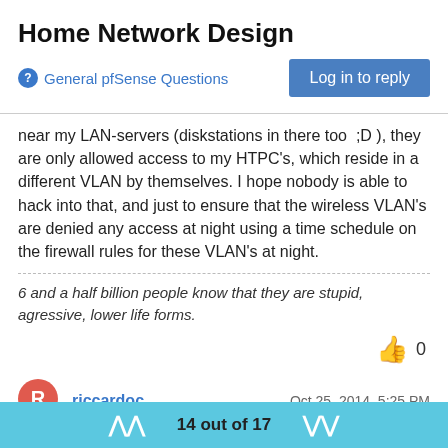Home Network Design
General pfSense Questions
near my LAN-servers (diskstations in there too ;D ), they are only allowed access to my HTPC's, which reside in a different VLAN by themselves. I hope nobody is able to hack into that, and just to ensure that the wireless VLAN's are denied any access at night using a time schedule on the firewall rules for these VLAN's at night.
6 and a half billion people know that they are stupid, agressive, lower life forms.
riccardoc  Oct 25, 2014, 5:25 PM
I have been noticing that a lot of people are talking about setting up VALNs. What would be the benefit be on such a small network?
14 out of 17